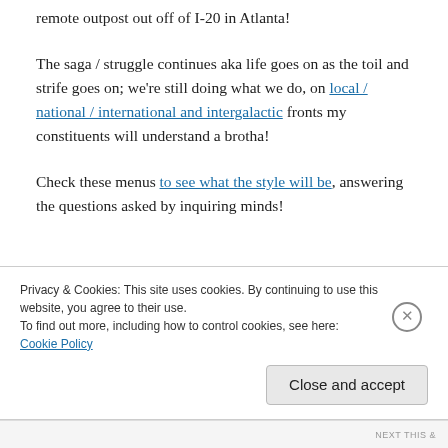remote outpost out off of I-20 in Atlanta!
The saga / struggle continues aka life goes on as the toil and strife goes on; we're still doing what we do, on local / national / international and intergalactic fronts my constituents will understand a brotha!
Check these menus to see what the style will be, answering the questions asked by inquiring minds!
Privacy & Cookies: This site uses cookies. By continuing to use this website, you agree to their use.
To find out more, including how to control cookies, see here:
Cookie Policy
Close and accept